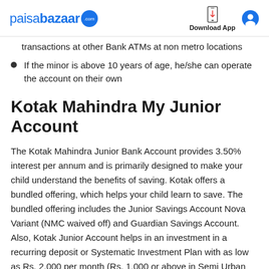paisabazaar.com | Download App
transactions at other Bank ATMs at non metro locations
If the minor is above 10 years of age, he/she can operate the account on their own
Kotak Mahindra My Junior Account
The Kotak Mahindra Junior Bank Account provides 3.50% interest per annum and is primarily designed to make your child understand the benefits of saving. Kotak offers a bundled offering, which helps your child learn to save. The bundled offering includes the Junior Savings Account Nova Variant (NMC waived off) and Guardian Savings Account. Also, Kotak Junior Account helps in an investment in a recurring deposit or Systematic Investment Plan with as low as Rs. 2,000 per month (Rs. 1,000 or above in Semi Urban and Rural